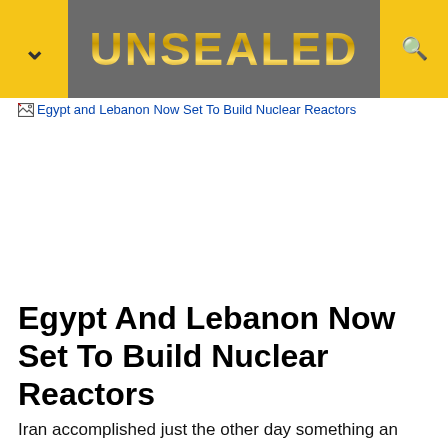UNSEALED
[Figure (screenshot): Broken image placeholder link reading 'Egypt and Lebanon Now Set To Build Nuclear Reactors' in blue hyperlink text with a broken image icon]
Egypt And Lebanon Now Set To Build Nuclear Reactors
Iran accomplished just the other day something an enemy of Israel has never done–the completion of a working nuclear